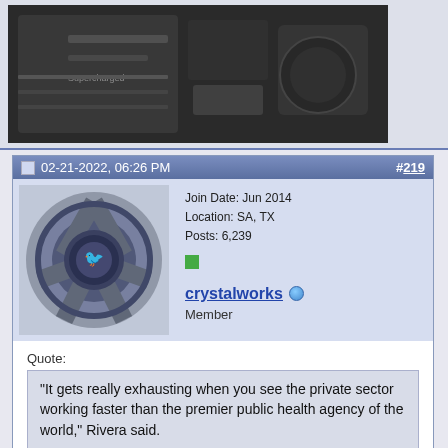[Figure (photo): Photo of a supercharged engine bay, gray and metallic tones, partially cropped at top of page]
02-21-2022, 06:26 PM  #219
[Figure (photo): Avatar image of a car wheel hub/center cap with a bird logo]
Join Date: Jun 2014
Location: SA, TX
Posts: 6,239
crystalworks  Member
Quote:
“It gets really exhausting when you see the private sector working faster than the premier public health agency of the world,” Rivera said.
I don’t think that surprises... anyone.
The lack of transparency with the data is a shame. Whatever their justification for it will always leave room for doubt and mistrust. Just release the data and let the public ingest it. You then can’t be blamed for trying to show it towards a political